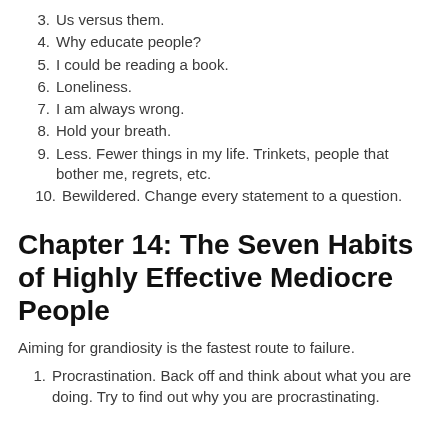3. Us versus them.
4. Why educate people?
5. I could be reading a book.
6. Loneliness.
7. I am always wrong.
8. Hold your breath.
9. Less. Fewer things in my life. Trinkets, people that bother me, regrets, etc.
10. Bewildered. Change every statement to a question.
Chapter 14: The Seven Habits of Highly Effective Mediocre People
Aiming for grandiosity is the fastest route to failure.
1. Procrastination. Back off and think about what you are doing. Try to find out why you are procrastinating.